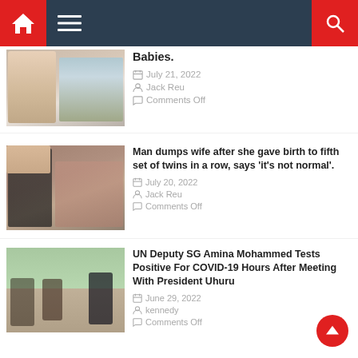Navigation bar with home, menu, and search icons
Babies.
July 21, 2022
Jack Reu
Comments Off
Man dumps wife after she gave birth to fifth set of twins in a row, says 'it's not normal'.
July 20, 2022
Jack Reu
Comments Off
UN Deputy SG Amina Mohammed Tests Positive For COVID-19 Hours After Meeting With President Uhuru
June 29, 2022
kennedy
Comments Off